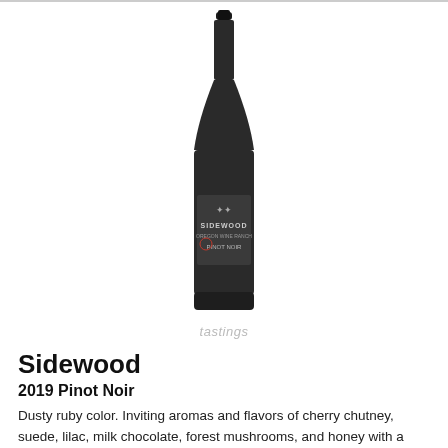[Figure (photo): A wine bottle of Sidewood 2019 Pinot Noir with a dark label featuring a tree logo, on a white background with a 'tastings' watermark below]
Sidewood
2019 Pinot Noir
Dusty ruby color. Inviting aromas and flavors of cherry chutney, suede, lilac, milk chocolate, forest mushrooms, and honey with a silky, vibrant, fruity light body and a smooth, complex, long finish with overtones of candied orange peel, ginger, and hazelnut with light oak flavor. A delicious Pinot Noir with enticing fruit aromatics and a mouthwatering palate; a no-brainer.
93  $30  » Read Full Review